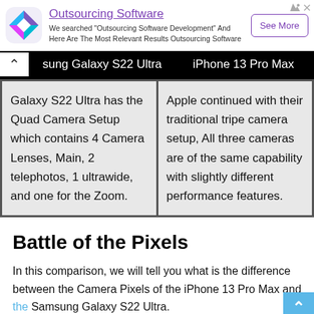[Figure (infographic): Advertisement banner for Outsourcing Software with colorful diamond logo, title 'Outsourcing Software', description text, and 'See More' button]
| Samsung Galaxy S22 Ultra | iPhone 13 Pro Max |
| --- | --- |
| Galaxy S22 Ultra has the Quad Camera Setup which contains 4 Camera Lenses, Main, 2 telephotos, 1 ultrawide, and one for the Zoom. | Apple continued with their traditional tripe camera setup, All three cameras are of the same capability with slightly different performance features. |
Battle of the Pixels
In this comparison, we will tell you what is the difference between the Camera Pixels of the iPhone 13 Pro Max and the Samsung Galaxy S22 Ultra.